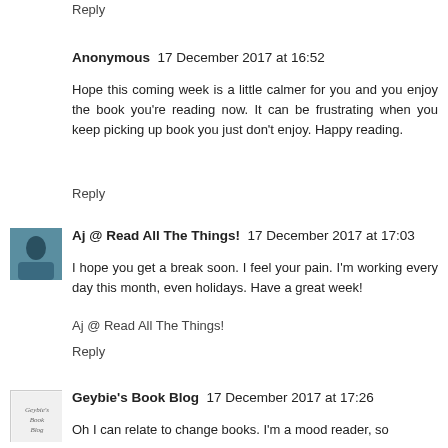Reply
Anonymous  17 December 2017 at 16:52
Hope this coming week is a little calmer for you and you enjoy the book you're reading now. It can be frustrating when you keep picking up book you just don't enjoy. Happy reading.
Reply
Aj @ Read All The Things!  17 December 2017 at 17:03
I hope you get a break soon. I feel your pain. I'm working every day this month, even holidays. Have a great week!
Aj @ Read All The Things!
Reply
Geybie's Book Blog  17 December 2017 at 17:26
Oh I can relate to change books. I'm a mood reader, so